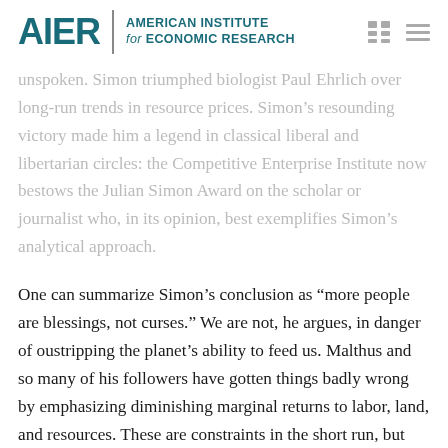AIER | AMERICAN INSTITUTE for ECONOMIC RESEARCH
unspoken. Simon triumphed biologist Paul Ehrlich over long-run trends in resource prices. Simon’s resounding victory made him a legend in classical liberal and libertarian circles: the Competitive Enterprise Institute now bestows the Julian Simon Award on the scholar or journalist who, in its opinion, best exemplifies Simon’s analytical approach.
One can summarize Simon’s conclusion as “more people are blessings, not curses.” We are not, he argues, in danger of oustripping the planet’s ability to feed us. Malthus and so many of his followers have gotten things badly wrong by emphasizing diminishing marginal returns to labor, land, and resources. These are constraints in the short run, but not in the long run. Each person born brings a mouth to